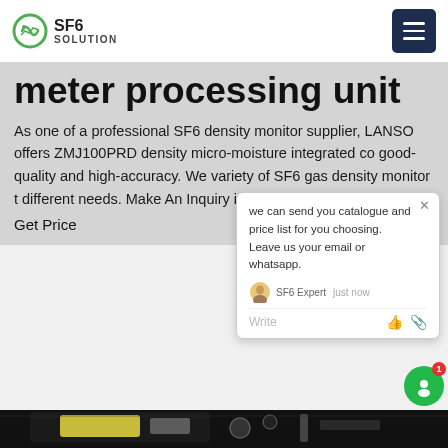SF6 SOLUTION
meter processing unit
As one of a professional SF6 density monitor supplier, LANSO offers ZMJ100PRD density micro-moisture integrated co good-quality and high-accuracy. We variety of SF6 gas density monitor t different needs. Make An Inquiry it e Selection!
Get Price
[Figure (screenshot): Chat popup overlay with message: we can send you catalogue and price list for you choosing. Leave us your email or whatsapp. SF6 Expert just now. Write input with icons.]
[Figure (photo): Dark photo of industrial SF6 gas density monitor processing unit equipment with yellow and metallic components.]